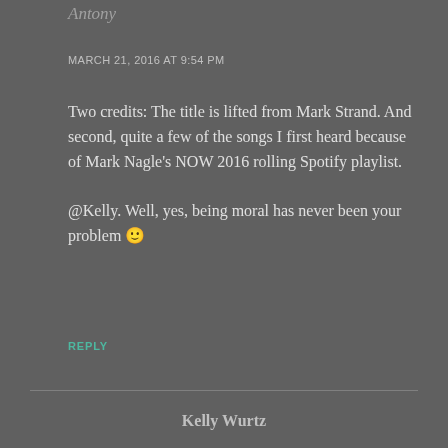Antony
MARCH 21, 2016 AT 9:54 PM
Two credits: The title is lifted from Mark Strand. And second, quite a few of the songs I first heard because of Mark Nagle's NOW 2016 rolling Spotify playlist.

@Kelly. Well, yes, being moral has never been your problem 🙂
REPLY
Kelly Wurtz